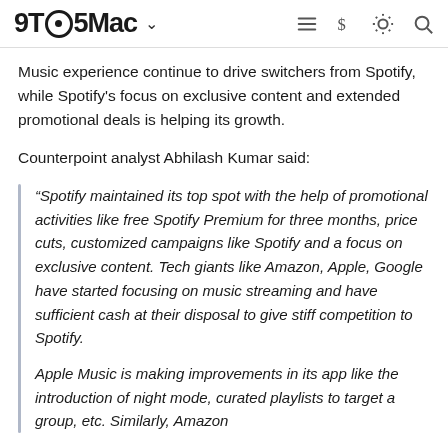9TO5Mac
Music experience continue to drive switchers from Spotify, while Spotify's focus on exclusive content and extended promotional deals is helping its growth.
Counterpoint analyst Abhilash Kumar said:
“Spotify maintained its top spot with the help of promotional activities like free Spotify Premium for three months, price cuts, customized campaigns like Spotify and a focus on exclusive content. Tech giants like Amazon, Apple, Google have started focusing on music streaming and have sufficient cash at their disposal to give stiff competition to Spotify.

Apple Music is making improvements in its app like the introduction of night mode, curated playlists to target a group, etc. Similarly, Amazon Music has also introduced features to compete with it.